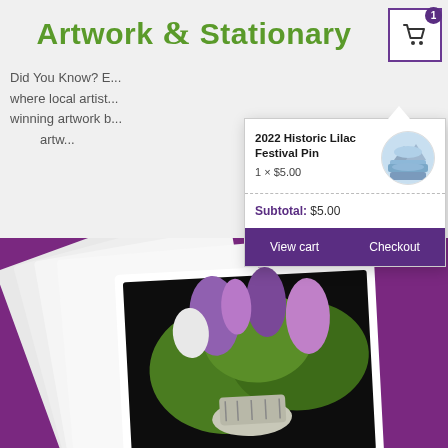Artwork & Stationary
Did You Know? B... where local artist... winning artwork b... artw...
[Figure (screenshot): Shopping cart dropdown showing '2022 Historic Lilac Festival Pin, 1 x $5.00' with a circular product image, subtotal of $5.00, and View cart / Checkout buttons on purple background]
[Figure (photo): Photo of greeting cards with a painting of lilac flowers in a decorative vase, cards fanned out on a purple background]